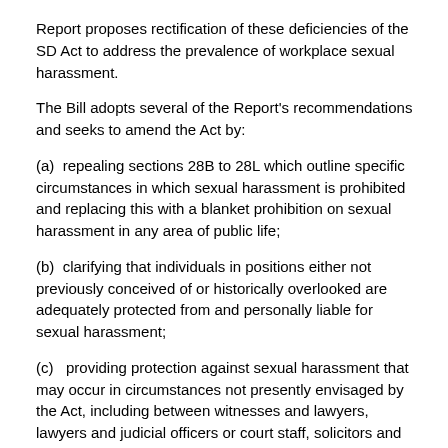Report proposes rectification of these deficiencies of the SD Act to address the prevalence of workplace sexual harassment.
The Bill adopts several of the Report's recommendations and seeks to amend the Act by:
(a)  repealing sections 28B to 28L which outline specific circumstances in which sexual harassment is prohibited and replacing this with a blanket prohibition on sexual harassment in any area of public life;
(b)  clarifying that individuals in positions either not previously conceived of or historically overlooked are adequately protected from and personally liable for sexual harassment;
(c)   providing protection against sexual harassment that may occur in circumstances not presently envisaged by the Act, including between witnesses and lawyers, lawyers and judicial officers or court staff, solicitors and barristers or between barristers; and
(d)  expanding the provisions which prohibit the aiding and